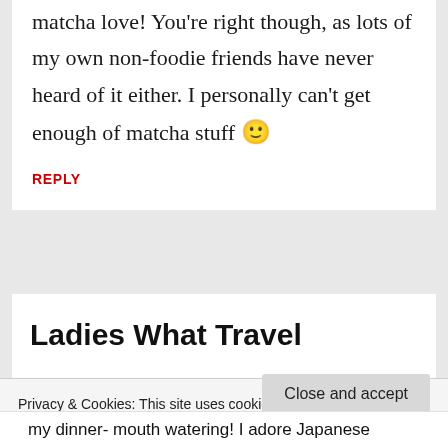matcha love! You're right though, as lots of my own non-foodie friends have never heard of it either. I personally can't get enough of matcha stuff 🙂
REPLY
Ladies What Travel
Privacy & Cookies: This site uses cookies. By continuing to use this website, you agree to their use.
To find out more, including how to control cookies, see here: Cookie Policy
Close and accept
my dinner- mouth watering! I adore Japanese